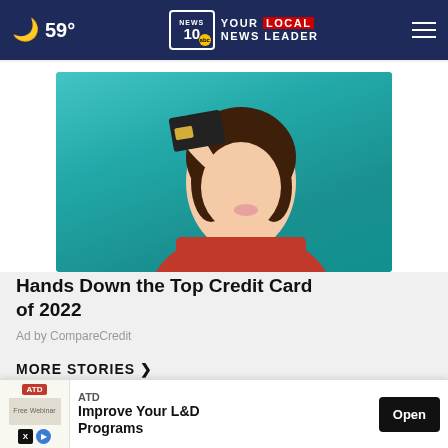59° NEWS 10 abc YOUR LOCAL NEWS LEADER
[Figure (photo): Woman holding a dark credit card over her eye against a teal background, wearing a red top]
Hands Down the Top Credit Card of 2022
Ad by CompareCredit
MORE STORIES ›
[Figure (screenshot): Bottom ad banner: ATD - Improve Your L&D Programs, Open button]
ATD Improve Your L&D Programs
Open